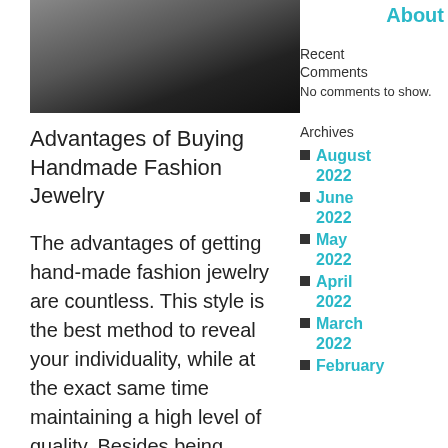[Figure (photo): A dark blurred photo showing an object against a dark background]
Advantages of Buying Handmade Fashion Jewelry
The advantages of getting hand-made fashion jewelry are countless. This style is the best method to reveal your individuality, while at the exact same time maintaining a high level of quality. Besides being incredibly one-of-
About
Recent Comments
No comments to show.
Archives
August 2022
June 2022
May 2022
April 2022
March 2022
February